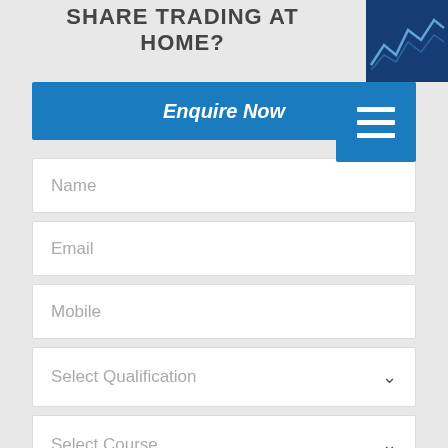SHARE TRADING AT HOME?
[Figure (screenshot): Stock market chart thumbnail image in the top right corner]
Enquire Now
Name
Email
Mobile
Select Qualification
Select Course
City
Submit